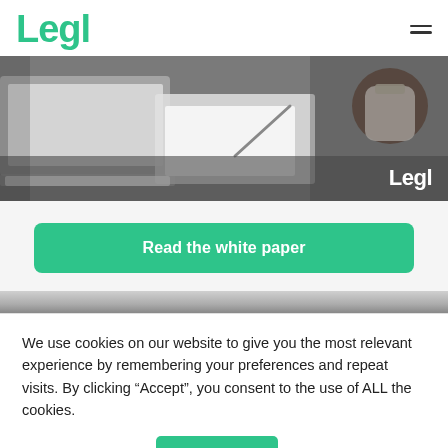Legl
[Figure (photo): Hero banner photo showing a laptop, notebook paper, pen, and hands holding a coffee cup on a dark desk. White Legl logo in bottom right corner.]
Read the white paper
[Figure (photo): Partial second banner image, mostly dark/grey gradient strip.]
We use cookies on our website to give you the most relevant experience by remembering your preferences and repeat visits. By clicking “Accept”, you consent to the use of ALL the cookies.
Cookie settings
ACCEPT